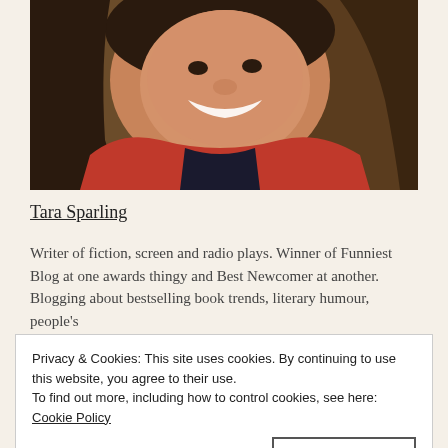[Figure (photo): A smiling woman with dark hair wearing a red jacket over a dark top, photographed in an indoor setting with wooden background, selfie-style close-up shot.]
Tara Sparling
Writer of fiction, screen and radio plays. Winner of Funniest Blog at one awards thingy and Best Newcomer at another. Blogging about bestselling book trends, literary humour, people's
Privacy & Cookies: This site uses cookies. By continuing to use this website, you agree to their use.
To find out more, including how to control cookies, see here: Cookie Policy
Close and accept